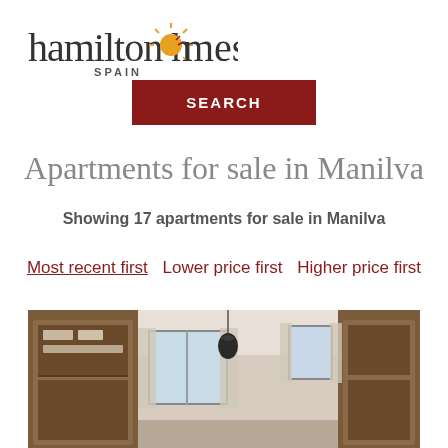[Figure (logo): Hamilton Homes Spain logo with stylized sun replacing the 'o' in homes]
SEARCH
Apartments for sale in Manilva
Showing 17 apartments for sale in Manilva
Most recent first  Lower price first  Higher price first
[Figure (photo): Interior room photo showing bedroom/dressing area with wooden wardrobes, pendant light, and windows]